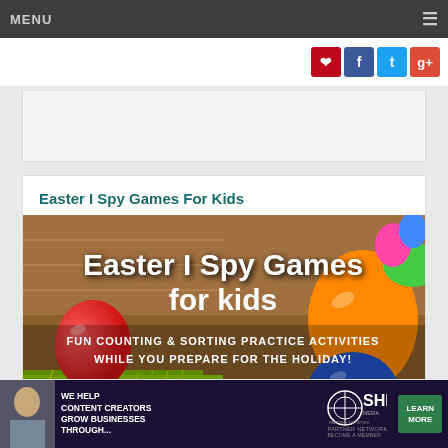MENU
[Figure (screenshot): Social media share icons: Pinterest (red), Facebook (blue), Twitter (blue), Google+ (red)]
[Figure (photo): White advertisement banner placeholder]
Easter I Spy Games For Kids
[Figure (photo): Easter I Spy Games for Kids promotional image showing colorful Easter eggs with text overlay: 'Easter I Spy Games for Kids - Fun Counting & Sorting Practice Activities While You Prepare for the Holiday!']
[Figure (screenshot): Bottom advertisement for SHE Media Partner Network: 'We help content creators grow businesses through... Learn More']